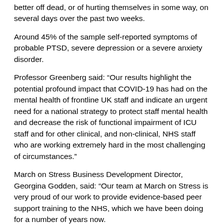better off dead, or of hurting themselves in some way, on several days over the past two weeks.
Around 45% of the sample self-reported symptoms of probable PTSD, severe depression or a severe anxiety disorder.
Professor Greenberg said: “Our results highlight the potential profound impact that COVID-19 has had on the mental health of frontline UK staff and indicate an urgent need for a national strategy to protect staff mental health and decrease the risk of functional impairment of ICU staff and for other clinical, and non-clinical, NHS staff who are working extremely hard in the most challenging of circumstances.”
March on Stress Business Development Director, Georgina Godden, said: “Our team at March on Stress is very proud of our work to provide evidence-based peer support training to the NHS, which we have been doing for a number of years now.
“Since the pandemic began in 2020, we have worked to provide additional training solutions to meet the ever increasing need to support our dedicated NHS personnel. This includes training which focuses on having psychologically informed conversations through a process called REACTMH®. This training provides short, focused sessions to help supervisors and leaders to better support staff that